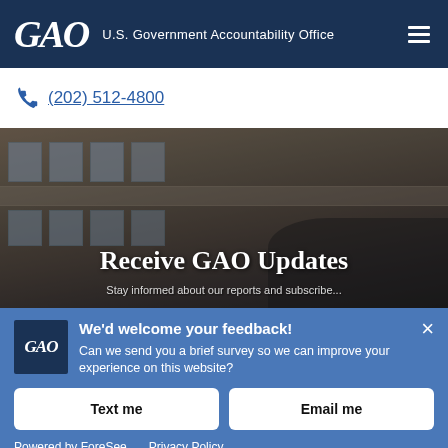GAO U.S. Government Accountability Office
(202) 512-4800
[Figure (photo): Exterior photo of a government building facade with windows, with a dark overlay. Text 'Receive GAO Updates' overlaid in white.]
Receive GAO Updates
Stay informed... subscribe...
We'd welcome your feedback! Can we send you a brief survey so we can improve your experience on this website?
Text me
Email me
Powered by ForeSee   Privacy Policy